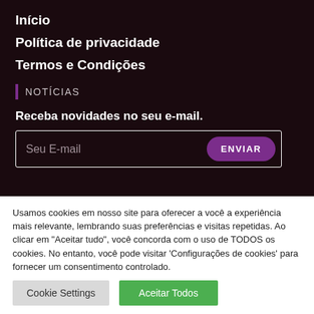Início
Política de privacidade
Termos e Condições
Notícias
Receba novidades no seu e-mail.
[Figure (screenshot): Email input field with placeholder 'Seu E-mail' and a purple 'ENVIAR' submit button]
Usamos cookies em nosso site para oferecer a você a experiência mais relevante, lembrando suas preferências e visitas repetidas. Ao clicar em "Aceitar tudo", você concorda com o uso de TODOS os cookies. No entanto, você pode visitar 'Configurações de cookies' para fornecer um consentimento controlado.
Cookie Settings
Aceitar Todos